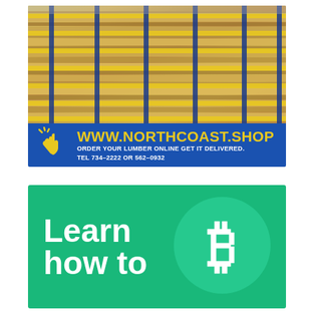[Figure (photo): Advertisement for NorthCoast lumber shop. Top portion shows a warehouse with stacked lumber on yellow industrial racking. Bottom blue banner shows a yellow hand/click icon, the URL WWW.NORTHCOAST.SHOP in yellow, and text 'ORDER YOUR LUMBER ONLINE GET IT DELIVERED. TEL 734-2222 OR 562-0932' in white.]
[Figure (illustration): Green advertisement banner reading 'Learn how to' in large white bold text on the left, with a lighter green circle on the right containing a Bitcoin (₿) symbol in white.]